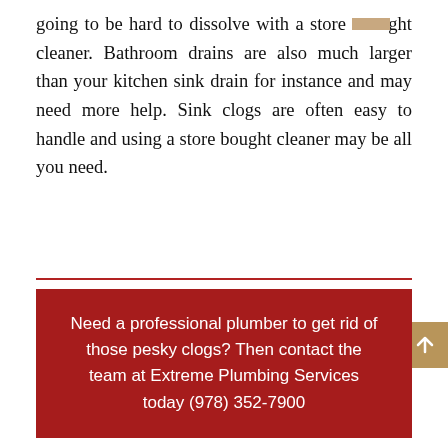going to be hard to dissolve with a store bought cleaner. Bathroom drains are also much larger than your kitchen sink drain for instance and may need more help. Sink clogs are often easy to handle and using a store bought cleaner may be all you need.
Need a professional plumber to get rid of those pesky clogs? Then contact the team at Extreme Plumbing Services today (978) 352-7900